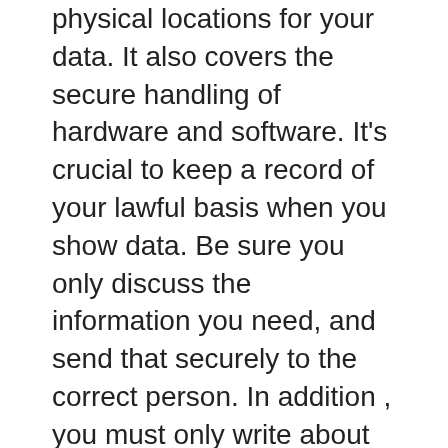physical locations for your data. It also covers the secure handling of hardware and software. It's crucial to keep a record of your lawful basis when you show data. Be sure you only discuss the information you need, and send that securely to the correct person. In addition , you must only write about personal info in an unexpected emergency. That way, no-one may use it to focus on you. If you're unsure, check with the Data Security Act (DPA) for more information.
Sometimes, redaction is acceptable. The type of info and regulations that affect your business may possibly dictate whether heavy redaction is necessary. You need to protect